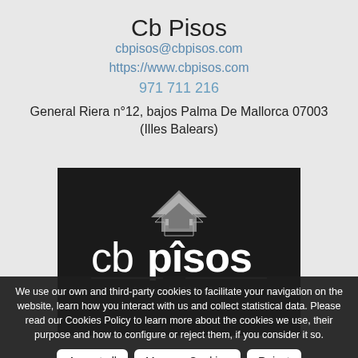Cb Pisos
cbpisos@cbpisos.com
https://www.cbpisos.com
971 711 216
General Riera n°12, bajos Palma De Mallorca 07003 (Illes Balears)
[Figure (logo): CB Pisos inmobiliaria logo on dark background with house/chevron symbol above text 'cbpisos' and subtitle 'inmobiliaria']
We use our own and third-party cookies to facilitate your navigation on the website, learn how you interact with us and collect statistical data. Please read our Cookies Policy to learn more about the cookies we use, their purpose and how to configure or reject them, if you consider it so.
Accept all   Manage Cookies   Reject